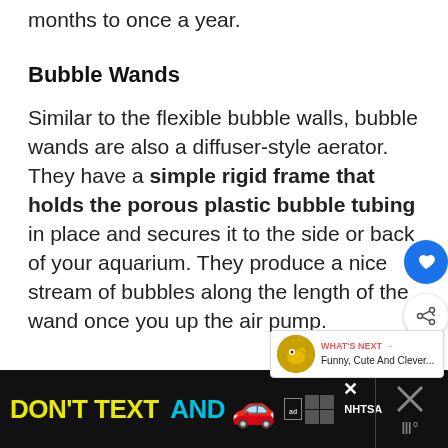months to once a year.
Bubble Wands
Similar to the flexible bubble walls, bubble wands are also a diffuser-style aerator. They have a simple rigid frame that holds the porous plastic bubble tubing in place and secures it to the side or back of your aquarium. They produce a nice stream of bubbles along the length of the wand once you up the air pump.
[Figure (screenshot): Website UI overlay showing a heart/like button (blue circle) and a share button (white circle with share icon), plus a 'WHAT'S NEXT' widget showing a goldfish image with text 'Funny, Cute And Clever...']
[Figure (screenshot): Advertisement banner with black background reading 'DON'T TEXT AND' in yellow and cyan, with a red car emoji, ad badge, NHTSA logo boxes, and close/dismiss buttons on the right.]